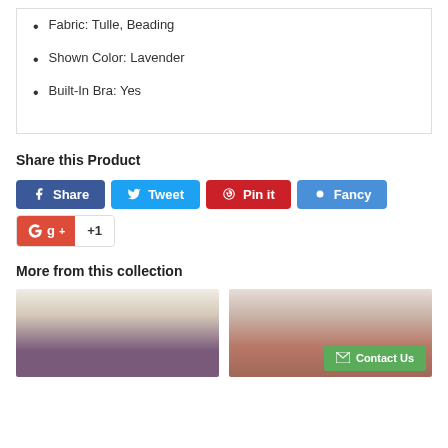Fabric: Tulle, Beading
Shown Color: Lavender
Built-In Bra: Yes
Share this Product
Share | Tweet | Pin it | Fancy | +1
More from this collection
[Figure (photo): Young woman in purple sequin dress standing in front of white brick wall]
[Figure (photo): Young woman posing outdoors in front of brick wall, with Contact Us button overlay]